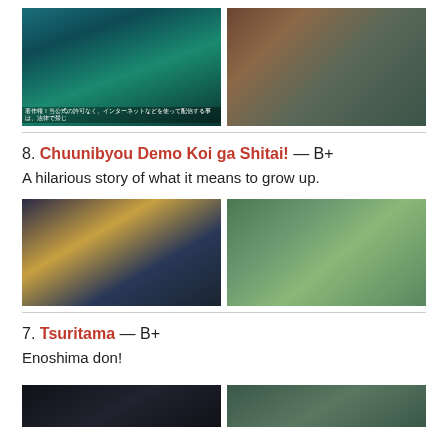[Figure (photo): Two anime screenshots side by side: left shows a dark teal nighttime scene with a girl in black dress holding a weapon under a moon; right shows two anime girls in school uniforms in a classroom/indoor setting.]
8. Chuunibyou Demo Koi ga Shitai! — B+
A hilarious story of what it means to grow up.
[Figure (photo): Two anime screenshots side by side: left shows two characters, one with spiky blonde hair grimacing; right shows a classroom scene with students in blue uniforms seated at desks.]
7. Tsuritama — B+
Enoshima don!
[Figure (photo): Two anime screenshots side by side at bottom, partially visible.]